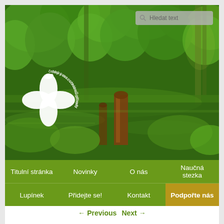[Figure (photo): Nature/forest scene with trees, green foliage, and a pond/water reflection. Logged tree stump in foreground. Czech nature conservancy organization (český svaz ochránců přírody) logo with white flower and bird overlay on left side.]
[Figure (logo): White logo: four-petal flower with small bird on top, circular text reading 'český svaz ochránců přírody']
Titulní stránka
Novinky
O nás
Naučná stezka
Lupínek
Přidejte se!
Kontakt
Podpořte nás
← Previous   Next →